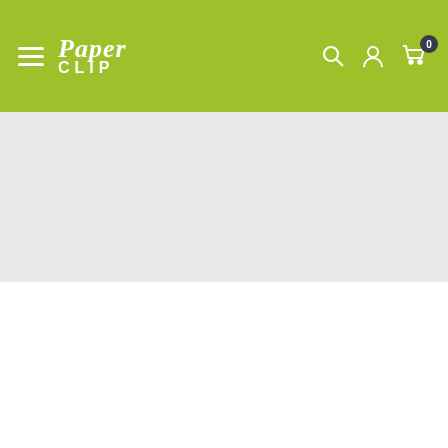Paper Clip — navigation header with hamburger menu, logo, search, account, and cart (0 items)
[Figure (screenshot): Grey hero/banner area below header, empty placeholder]
Free Delivery from $50
99% Positive Feedbacks
[Figure (illustration): Refresh/return icon (circular arrow outline in green)]
[Figure (illustration): Gold/brown promo image block on left]
CATCH THE HOTTEST DEALS